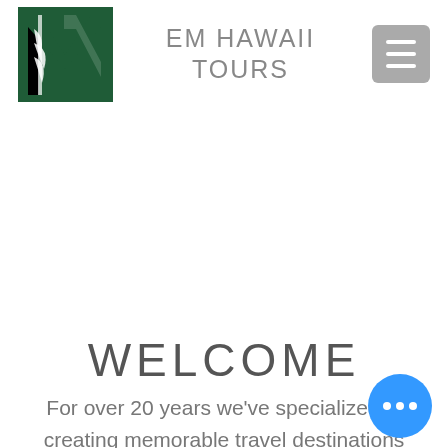EM HAWAII TOURS
WELCOME
For over 20 years we've specialized in creating memorable travel destinations worldwide. We offer